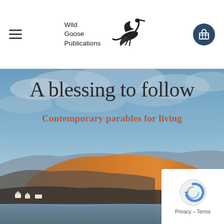Wild Goose Publications [nav bar with hamburger menu and cart icon]
[Figure (photo): Book cover for 'A blessing to follow: Contemporary parables for living' by Wild Goose Publications. The cover shows a landscape photograph of a Scottish loch scene with a dramatic sky, hills lit by orange-golden sunlight, and small white buildings near the water. Overlaid text reads 'A blessing to follow' in large serif font and 'Contemporary parables for living' in bold rust/brown colored font below it.]
Privacy – Terms